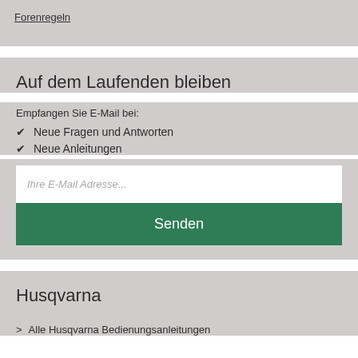Forenregeln
Auf dem Laufenden bleiben
Empfangen Sie E-Mail bei:
Neue Fragen und Antworten
Neue Anleitungen
Ihre E-Mail Adresse...
Senden
Husqvarna
Alle Husqvarna Bedienungsanleitungen